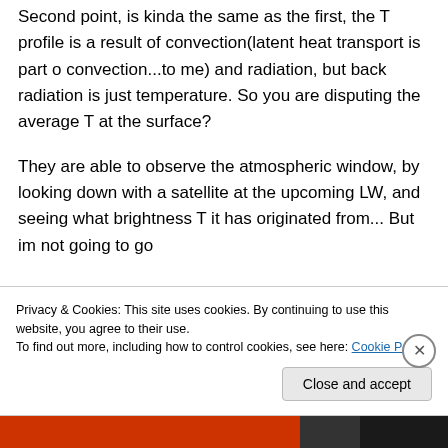Second point, is kinda the same as the first, the T profile is a result of convection(latent heat transport is part o convection...to me) and radiation, but back radiation is just temperature. So you are disputing the average T at the surface?
They are able to observe the atmospheric window, by looking down with a satellite at the upcoming LW, and seeing what brightness T it has originated from... But im not going to go chase it up, but you would be able to check
Privacy & Cookies: This site uses cookies. By continuing to use this website, you agree to their use.
To find out more, including how to control cookies, see here: Cookie Policy
Close and accept